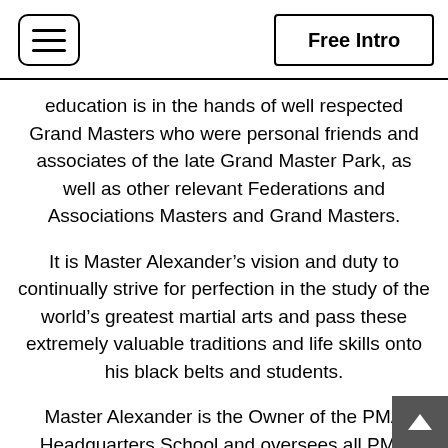Free Intro
education is in the hands of well respected Grand Masters who were personal friends and associates of the late Grand Master Park, as well as other relevant Federations and Associations Masters and Grand Masters.
It is Master Alexander’s vision and duty to continually strive for perfection in the study of the world’s greatest martial arts and pass these extremely valuable traditions and life skills onto his black belts and students.
Master Alexander is the Owner of the PMA Headquarters School and oversees all PMA